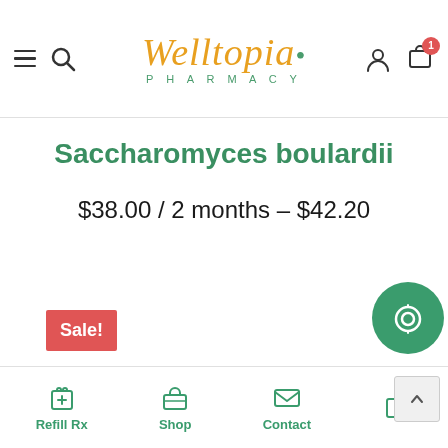Welltopia Pharmacy
Saccharomyces boulardii
$38.00 / 2 months – $42.20
Sale!
[Figure (photo): Product image area showing a dark rectangular label on a light background]
Refill Rx  Shop  Contact